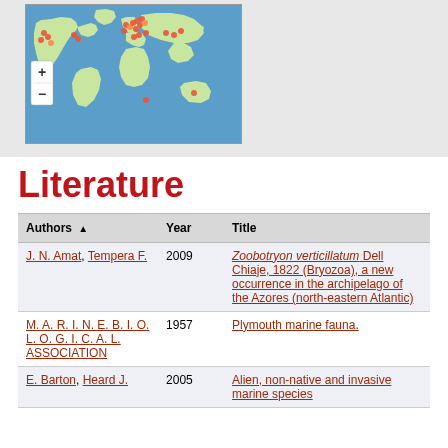[Figure (map): World map with red/orange dot markers indicating occurrence locations of a species, spread across North America, Europe, and other regions. Map has blue ocean background and green land masses. Zoom +/- controls visible on left side.]
Literature
| Authors ▲ | Year | Title |
| --- | --- | --- |
| J. N. Amat, Tempera F. | 2009 | Zoobotryon verticillatum Dell Chiaje, 1822 (Bryozoa), a new occurrence in the archipelago of the Azores (north-eastern Atlantic) |
| M. A. R. I. N. E. B. I. O. L. O. G. I. C. A. L. ASSOCIATION | 1957 | Plymouth marine fauna. |
| E. Barton, Heard J. | 2005 | Alien, non-native and invasive marine species |